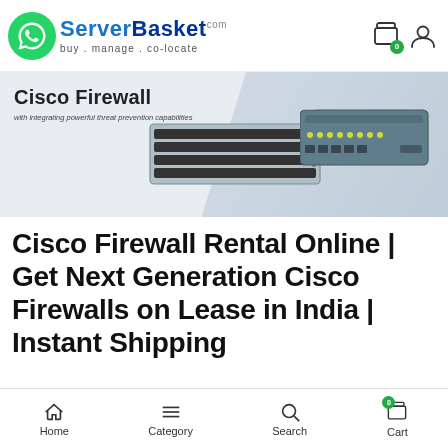[Figure (logo): ServerBasket logo with WhatsApp icon on left, blue text 'SERVERBASKET.com' and tagline 'buy . manage . co-locate']
[Figure (photo): Cisco Firewall banner with text 'Cisco Firewall' and subtitle 'with integrating powerful threat prevention capabilities', showing rack-mounted and desktop Cisco firewall hardware]
Cisco Firewall Rental Online | Get Next Generation Cisco Firewalls on Lease in India | Instant Shipping
[Figure (screenshot): Bottom navigation bar with Home, Category, Search, and Cart icons]